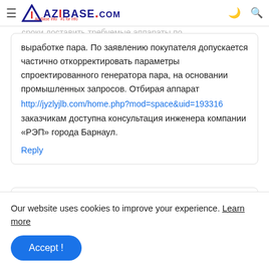AZIBASE
выработке пара. По заявлению покупателя допускается частично откорректировать параметры спроектированного генератора пара, на основании промышленных запросов. Отбирая аппарат http://jyzlyjlb.com/home.php?mod=space&uid=193316 заказчикам доступна консультация инженера компании «РЭП» города Барнаул.
Reply
Anonymous
Our website uses cookies to improve your experience. Learn more
Accept !